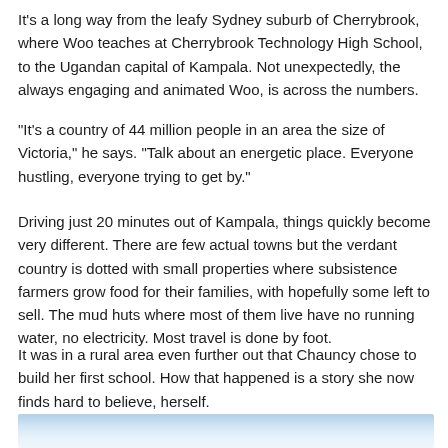It's a long way from the leafy Sydney suburb of Cherrybrook, where Woo teaches at Cherrybrook Technology High School, to the Ugandan capital of Kampala. Not unexpectedly, the always engaging and animated Woo, is across the numbers.
“It’s a country of 44 million people in an area the size of Victoria,” he says. “Talk about an energetic place. Everyone hustling, everyone trying to get by.”
Driving just 20 minutes out of Kampala, things quickly become very different. There are few actual towns but the verdant country is dotted with small properties where subsistence farmers grow food for their families, with hopefully some left to sell. The mud huts where most of them live have no running water, no electricity. Most travel is done by foot.
It was in a rural area even further out that Chauncy chose to build her first school. How that happened is a story she now finds hard to believe, herself.
[Figure (photo): Partial view of a sky with blue tones and clouds, appearing at the bottom of the page.]